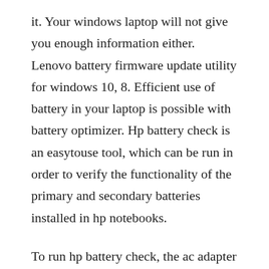it. Your windows laptop will not give you enough information either. Lenovo battery firmware update utility for windows 10, 8. Efficient use of battery in your laptop is possible with battery optimizer. Hp battery check is an easytouse tool, which can be run in order to verify the functionality of the primary and secondary batteries installed in hp notebooks.
To run hp battery check, the ac adapter must be connected to the computer, and the battery must have at least a partial charge. Learn how